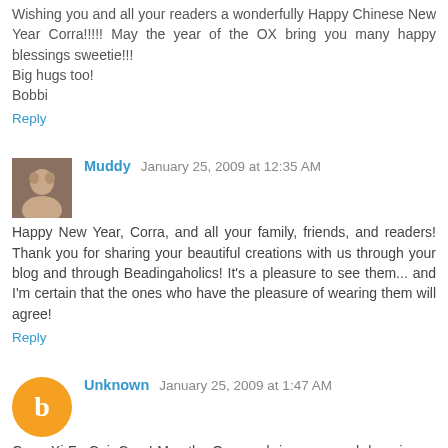Wishing you and all your readers a wonderfully Happy Chinese New Year Corra!!!!! May the year of the OX bring you many happy blessings sweetie!!!
Big hugs too!
Bobbi
Reply
Muddy  January 25, 2009 at 12:35 AM
Happy New Year, Corra, and all your family, friends, and readers! Thank you for sharing your beautiful creations with us through your blog and through Beadingaholics! It's a pleasure to see them... and I'm certain that the ones who have the pleasure of wearing them will agree!
Reply
Unknown  January 25, 2009 at 1:47 AM
Gong Xi Fa Cai, Cora! May the Ox year bring you much happiness, good health and prosperity.